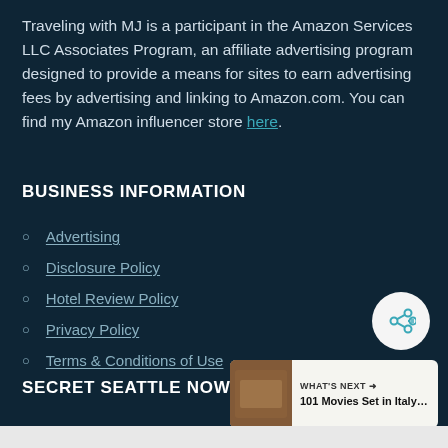Traveling with MJ is a participant in the Amazon Services LLC Associates Program, an affiliate advertising program designed to provide a means for sites to earn advertising fees by advertising and linking to Amazon.com. You can find my Amazon influencer store here.
BUSINESS INFORMATION
Advertising
Disclosure Policy
Hotel Review Policy
Privacy Policy
Terms & Conditions of Use
SECRET SEATTLE NOW AVAILABLE